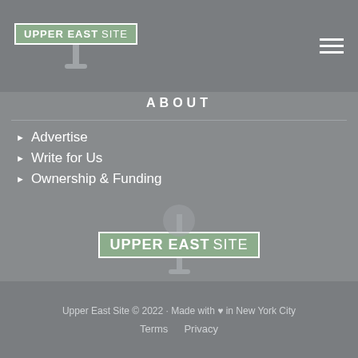[Figure (logo): Upper East Site logo — green street sign badge with white text 'UPPER EAST SITE', mounted on a pole with base]
ABOUT
Advertise
Write for Us
Ownership & Funding
[Figure (logo): Upper East Site logo centered — green street sign badge with white text 'UPPER EAST SITE', mounted on a pole with base]
Upper East Site is an independent and non-partisan local news source dedicated to the Upper East Side
Upper East Site © 2022 · Made with ♥ in New York City
Terms    Privacy